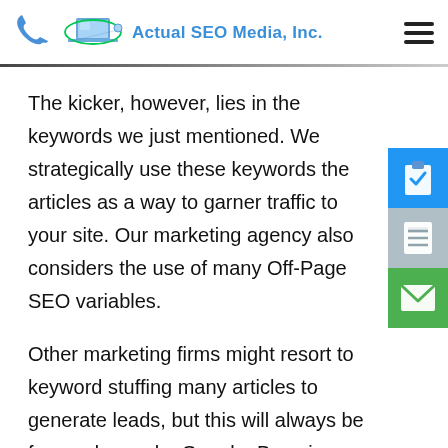Actual SEO Media, Inc.
The kicker, however, lies in the keywords we just mentioned. We strategically use these keywords the articles as a way to garner traffic to your site. Our marketing agency also considers the use of many Off-Page SEO variables.
Other marketing firms might resort to keyword stuffing many articles to generate leads, but this will always be frowned upon by Google. By going through with blackhat tactics like these, Google won't even consider putting your website in the